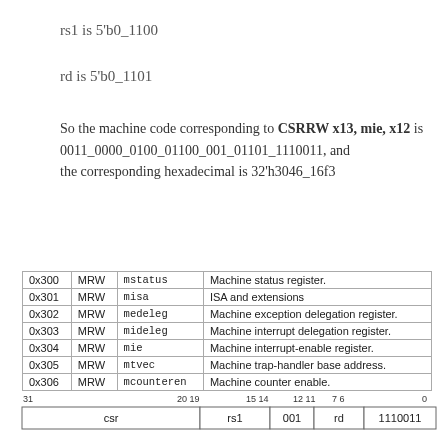rs1 is 5'b0_1100
rd is 5'b0_1101
So the machine code corresponding to CSRRW x13, mie, x12 is 0011_0000_0100_01100_001_01101_1110011, and the corresponding hexadecimal is 32'h3046_16f3
| Address | Access | Name | Description |
| --- | --- | --- | --- |
| 0x300 | MRW | mstatus | Machine status register. |
| 0x301 | MRW | misa | ISA and extensions |
| 0x302 | MRW | medeleg | Machine exception delegation register. |
| 0x303 | MRW | mideleg | Machine interrupt delegation register. |
| 0x304 | MRW | mie | Machine interrupt-enable register. |
| 0x305 | MRW | mtvec | Machine trap-handler base address. |
| 0x306 | MRW | mcounteren | Machine counter enable. |
[Figure (schematic): Instruction encoding diagram showing fields: csr[31:20], rs1[19:15], 001[14:12], rd[11:7], 1110011[6:0]]